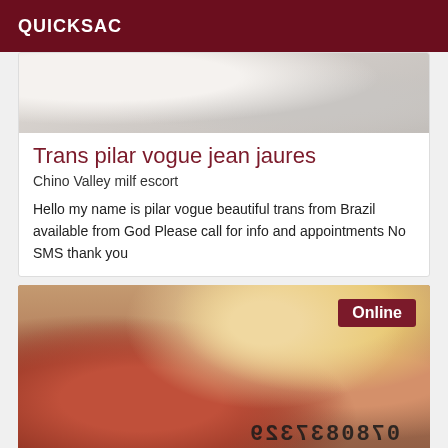QUICKSAC
[Figure (photo): Partial photo of bedding/sheets, beige and white tones, cropped top of listing card]
Trans pilar vogue jean jaures
Chino Valley milf escort
Hello my name is pilar vogue beautiful trans from Brazil available from God Please call for info and appointments No SMS thank you
[Figure (photo): Photo of a blonde woman wearing a red outfit, with a mirrored phone number 0780837329 visible on her shoulder area, and an 'Online' badge in the top right corner]